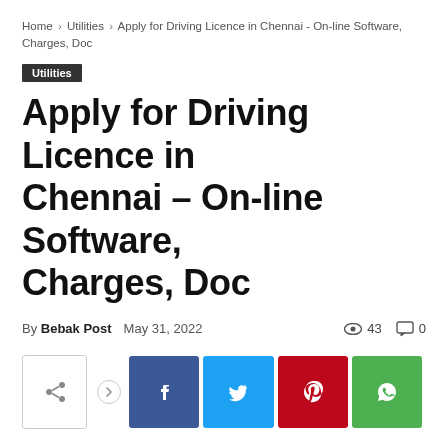Home › Utilities › Apply for Driving Licence in Chennai - On-line Software, Charges, Doc
Utilities
Apply for Driving Licence in Chennai – On-line Software, Charges, Doc
By Bebak Post   May 31, 2022   43 views   0 comments
[Figure (infographic): Social share bar with share icon button, arrow, and four colored social media buttons: Facebook (blue), Twitter (cyan), Pinterest (red), WhatsApp (green)]